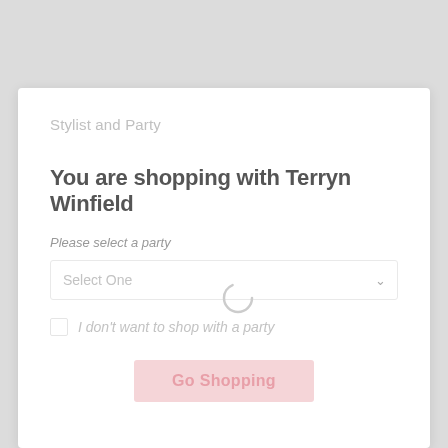Stylist and Party
You are shopping with Terryn Winfield
Please select a party
[Figure (screenshot): Dropdown select box with placeholder 'Select One' and a loading spinner overlay]
I don't want to shop with a party
Go Shopping